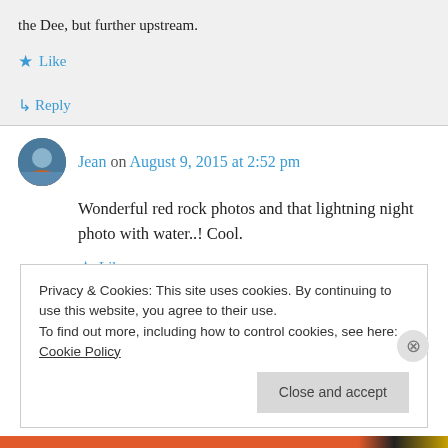the Dee, but further upstream.
Like
Reply
Jean on August 9, 2015 at 2:52 pm
Wonderful red rock photos and that lightning night photo with water..! Cool.
Like
Privacy & Cookies: This site uses cookies. By continuing to use this website, you agree to their use.
To find out more, including how to control cookies, see here: Cookie Policy
Close and accept